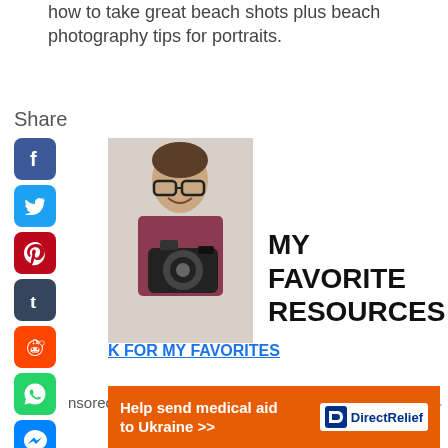how to take great beach shots plus beach photography tips for portraits.
Share
[Figure (illustration): Column of social media share icons: Facebook, Twitter, Pinterest, Tumblr, Reddit, WhatsApp, Messenger]
[Figure (photo): Man holding a camera, smiling, wearing glasses and a dark red shirt]
MY FAVORITE RESOURCES
K FOR MY FAVORITES
nsored Content
[Figure (logo): Outbrain logo with play icon]
[Figure (infographic): Orange DirectRelief ad banner: Help send medical aid to Ukraine >> with DirectRelief logo]